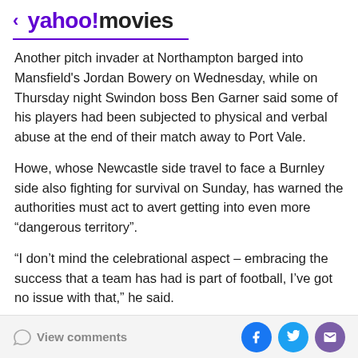< yahoo!movies
Another pitch invader at Northampton barged into Mansfield's Jordan Bowery on Wednesday, while on Thursday night Swindon boss Ben Garner said some of his players had been subjected to physical and verbal abuse at the end of their match away to Port Vale.
Howe, whose Newcastle side travel to face a Burnley side also fighting for survival on Sunday, has warned the authorities must act to avert getting into even more “dangerous territory”.
“I don’t mind the celebrational aspect – embracing the success that a team has had is part of football, I’ve got no issue with that,” he said.
View comments